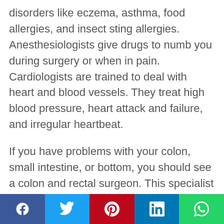disorders like eczema, asthma, food allergies, and insect sting allergies. Anesthesiologists give drugs to numb you during surgery or when in pain. Cardiologists are trained to deal with heart and blood vessels. They treat high blood pressure, heart attack and failure, and irregular heartbeat.
If you have problems with your colon, small intestine, or bottom, you should see a colon and rectal surgeon. This specialist deals with inflammatory bowel disease, colon cancer, and hemorrhoids. There are many specialists in Dubai.
There is no doubt that Dubai is a leader in medical